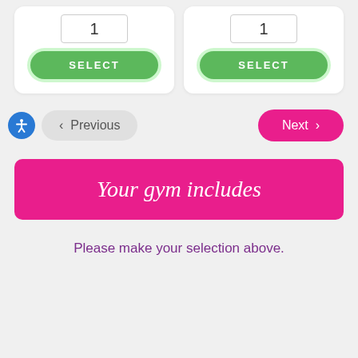[Figure (screenshot): Two white cards side by side, each containing a number box showing '1' and a green SELECT button with rounded corners and a green glow border]
[Figure (screenshot): Navigation row with accessibility icon (blue circle), Previous button (gray pill), and Next button (pink/magenta pill)]
Your gym includes
Please make your selection above.